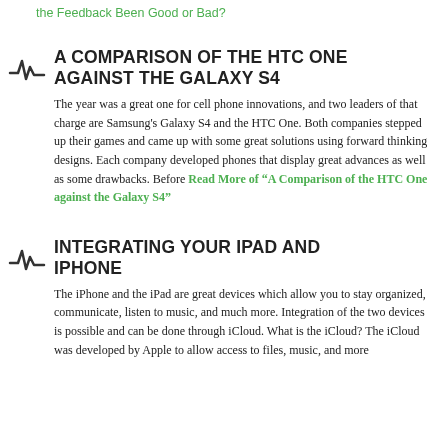the Feedback Been Good or Bad?
A COMPARISON OF THE HTC ONE AGAINST THE GALAXY S4
The year was a great one for cell phone innovations, and two leaders of that charge are Samsung's Galaxy S4 and the HTC One. Both companies stepped up their games and came up with some great solutions using forward thinking designs. Each company developed phones that display great advances as well as some drawbacks. Before Read More of "A Comparison of the HTC One against the Galaxy S4"
INTEGRATING YOUR IPAD AND IPHONE
The iPhone and the iPad are great devices which allow you to stay organized, communicate, listen to music, and much more. Integration of the two devices is possible and can be done through iCloud. What is the iCloud? The iCloud was developed by Apple to allow access to files, music, and more